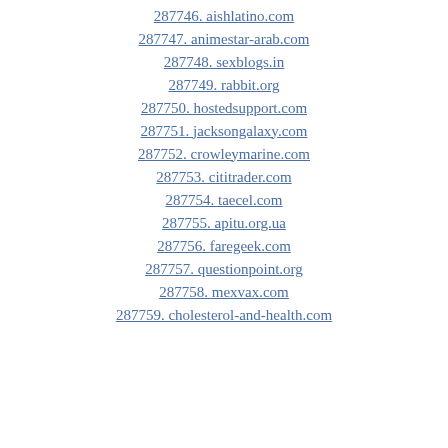287746. aishlatino.com
287747. animestar-arab.com
287748. sexblogs.in
287749. rabbit.org
287750. hostedsupport.com
287751. jacksongalaxy.com
287752. crowleymarine.com
287753. cititrader.com
287754. taecel.com
287755. apitu.org.ua
287756. faregeek.com
287757. questionpoint.org
287758. mexvax.com
287759. cholesterol-and-health.com